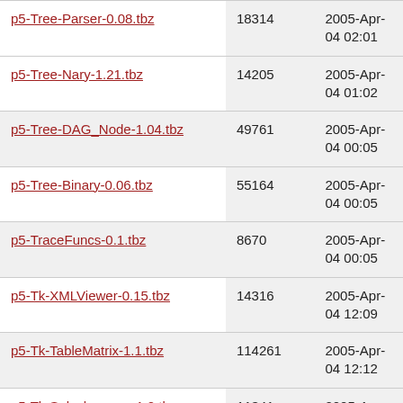| Filename | Size | Date |
| --- | --- | --- |
| p5-Tree-Parser-0.08.tbz | 18314 | 2005-Apr-04 02:01 |
| p5-Tree-Nary-1.21.tbz | 14205 | 2005-Apr-04 01:02 |
| p5-Tree-DAG_Node-1.04.tbz | 49761 | 2005-Apr-04 00:05 |
| p5-Tree-Binary-0.06.tbz | 55164 | 2005-Apr-04 00:05 |
| p5-TraceFuncs-0.1.tbz | 8670 | 2005-Apr-04 00:05 |
| p5-Tk-XMLViewer-0.15.tbz | 14316 | 2005-Apr-04 12:09 |
| p5-Tk-TableMatrix-1.1.tbz | 114261 | 2005-Apr-04 12:12 |
| p5-Tk-Splashscreen-1.0.tbz | 11341 | 2005-Apr-04 12:11 |
| p5-Tk-ResizeButton-0.01.tbz | 8965 | 2005-Apr-04 12:12 |
| p5-Tk-HistEntry-0.42.tbz | 12812 | 2005-Apr-04 12:11 |
| p5-Tk-Getopt-0.48.tbz | 25915 | 2005-Apr-04 12:10 |